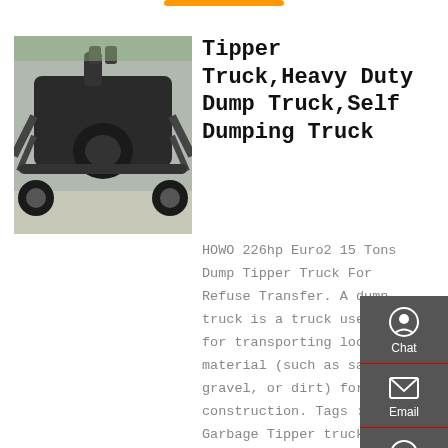[Figure (photo): Underside/undercarriage view of a heavy duty dump truck, photographed from below, showing axles, differential, suspension arms, exhaust, and tires. Vehicle is on a paved surface with grass visible in background.]
Tipper Truck,Heavy Duty Dump Truck,Self Dumping Truck
HOWO 226hp Euro2 15 Tons Dump Tipper Truck For Refuse Transfer. A dump truck is a truck used for transporting loose material (such as sand, gravel, or dirt) for construction. Tags : Garbage Tipper truck 15ton Tipper Truck For
Chat
Email
Contact
Top